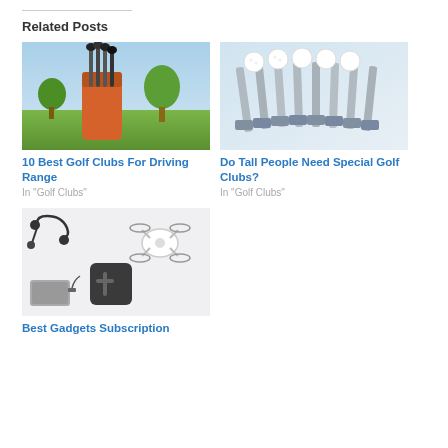Related Posts
[Figure (photo): Golf clubs in an orange bag on a golf course with blue sky]
10 Best Golf Clubs For Driving Range
In "Golf Clubs"
[Figure (photo): Row of golf club irons with golf balls on top, close-up metallic view]
Do Tall People Need Special Golf Clubs?
In "Golf Clubs"
[Figure (photo): Assorted gadgets including earphones, drone, speaker, and portable battery on white background]
Best Gadgets Subscription